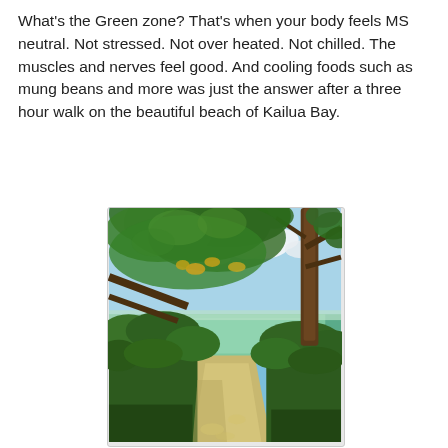What's the Green zone? That's when your body feels MS neutral. Not stressed. Not over heated. Not chilled. The muscles and nerves feel good. And cooling foods such as mung beans and more was just the answer after a three hour walk on the beautiful beach of Kailua Bay.
[Figure (photo): A photo taken looking through tropical trees and dense green hedges toward a beach with turquoise water and blue sky with clouds, appearing to be Kailua Bay in Hawaii. A sandy path leads through hedges toward the ocean.]